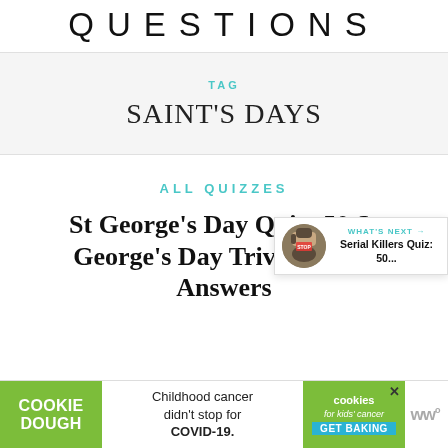QUESTIONS
TAG
SAINT'S DAYS
ALL QUIZZES
St George's Day Quiz: 50 St George's Day Trivia Questions & Answers
WHAT'S NEXT → Serial Killers Quiz: 50...
COOKIE DOUGH  Childhood cancer didn't stop for COVID-19.  cookies for kids' cancer  GET BAKING